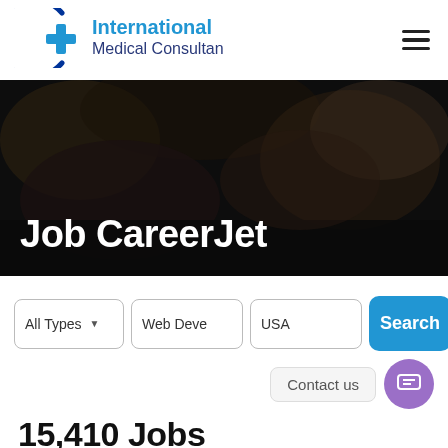[Figure (logo): International Medical Consultancy logo with blue cross and circular arc]
[Figure (photo): Dark blurred hero banner background with Job CareerJet title overlay]
Job CareerJet
All Types  Web Deve  USA  Search
Contact us
15,410 Jobs